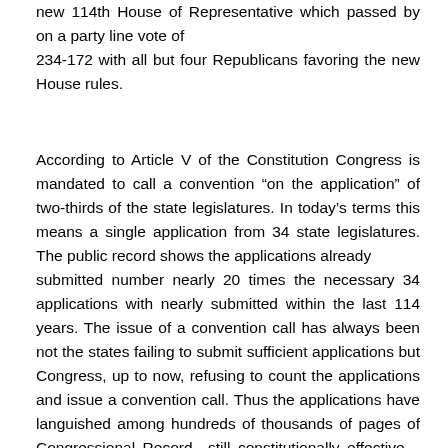new 114th House of Representative which passed by on a party line vote of 234-172 with all but four Republicans favoring the new House rules.
According to Article V of the Constitution Congress is mandated to call a convention "on the application" of two-thirds of the state legislatures. In today's terms this means a single application from 34 state legislatures. The public record shows the applications already submitted number nearly 20 times the necessary 34 applications with nearly submitted within the last 114 years. The issue of a convention call has always been not the states failing to submit sufficient applications but Congress, up to now, refusing to count the applications and issue a convention call. Thus the applications have languished among hundreds of thousands of pages of Congressional Record—still constitutionally effective—but ignored. This is no longer the